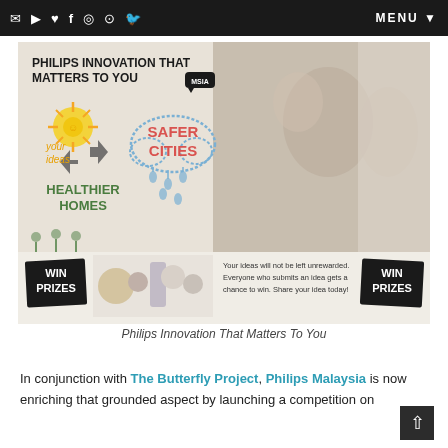warm company of good family and friends.
MENU
[Figure (photo): Philips Innovation That Matters To You advertisement banner. Shows a happy Asian family (man, woman, and child) on the right side. On the left side are hand-drawn style illustrations: a sun, cloud with 'SAFER CITIES', flowers with 'HEALTHIER HOMES', and 'your ideas'. Header text reads 'PHILIPS INNOVATION THAT MATTERS TO YOU' with a 'MSIA' speech bubble. Bottom strip shows product images, 'WIN PRIZES' badges, and text: 'Your ideas will not be left unrewarded. Everyone who submits an idea gets a chance to win. Share your idea today!']
Philips Innovation That Matters To You
In conjunction with The Butterfly Project, Philips Malaysia is now enriching that grounded aspect by launching a competition on